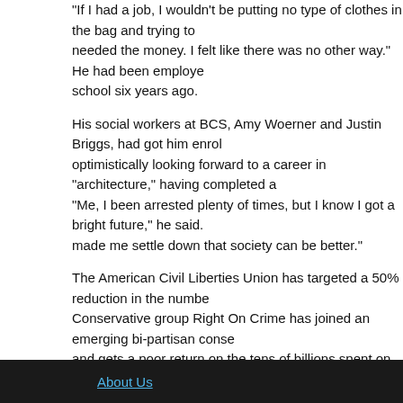"If I had a job, I wouldn't be putting no type of clothes in the bag and trying to needed the money. I felt like there was no other way." He had been unemploye school six years ago.
His social workers at BCS, Amy Woerner and Justin Briggs, had got him enrol optimistically looking forward to a career in "architecture," having completed a "Me, I been arrested plenty of times, but I know I got a bright future," he said. made me settle down that society can be better."
The American Civil Liberties Union has targeted a 50% reduction in the numbe Conservative group Right On Crime has joined an emerging bi-partisan conse and gets a poor return on the tens of billions spent on prisons each year. "As a coalescing around the idea that incarceration can be counter-productive," says
De Blasio has committed to closing Rikers Island within ten years. To do that, almost half again, to below 5,000, so that the remaining inmates can be house can follow through on the plan, and crime rates stay low, the empty jail comple incarceration era in New York, and perhaps even signify the beginning of a mc justice in the country as a whole.
================================================================
Andrew Purcell is a British freelance journalist based in New York. His princip Morning Herald (Australia), the Sunday Herald (Scotland), the Guardian (UK) a @andrewpurcellny
Article courtesy of Open Democracy
About Us